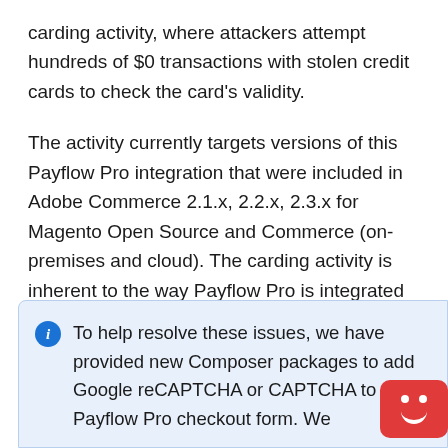carding activity, where attackers attempt hundreds of $0 transactions with stolen credit cards to check the card's validity.
The activity currently targets versions of this Payflow Pro integration that were included in Adobe Commerce 2.1.x, 2.2.x, 2.3.x for Magento Open Source and Commerce (on-premises and cloud). The carding activity is inherent to the way Payflow Pro is integrated into shopping carts.
To help resolve these issues, we have provided new Composer packages to add Google reCAPTCHA or CAPTCHA to the Payflow Pro checkout form. We